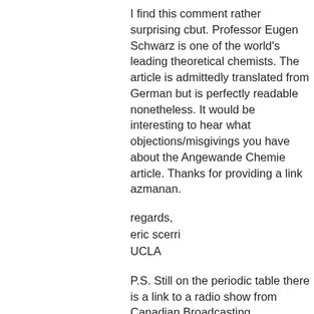I find this comment rather surprising cbut. Professor Eugen Schwarz is one of the world's leading theoretical chemists. The article is admittedly translated from German but is perfectly readable nonetheless. It would be interesting to hear what objections/misgivings you have about the Angewande Chemie article. Thanks for providing a link azmanan.
regards,
eric scerri
UCLA
P.S. Still on the periodic table there is a link to a radio show from Canadian Broadcasting Corporation at the UCLA chemistry department website. After reaching this site look for the icon for the element hydrogen and click on. You will